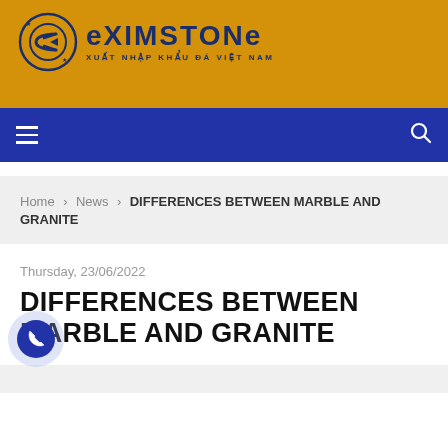[Figure (logo): Eximstone logo with circular icon and text 'EXIMSTONE XUẤT NHẬP KHẨU ĐÁ VIỆT NAM' on gold background]
Navigation bar with hamburger menu and search icon
Home > News > DIFFERENCES BETWEEN MARBLE AND GRANITE
Thursday, 23/06/2022
DIFFERENCES BETWEEN MARBLE AND GRANITE